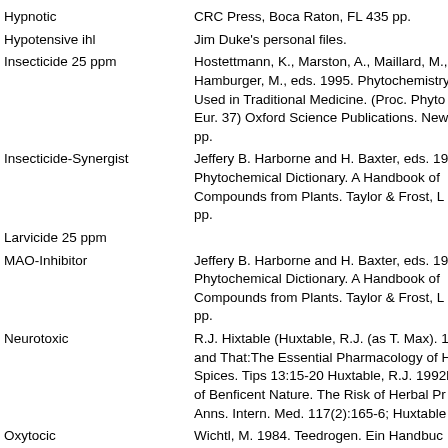| Activity | Reference |
| --- | --- |
| Hypnotic | CRC Press, Boca Raton, FL 435 pp. |
| Hypotensive ihl | Jim Duke's personal files. |
| Insecticide 25 ppm | Hostettmann, K., Marston, A., Maillard, M., Hamburger, M., eds. 1995. Phytochemistry Used in Traditional Medicine. (Proc. Phyto Eur. 37) Oxford Science Publications. New pp. |
| Insecticide-Synergist | Jeffery B. Harborne and H. Baxter, eds. 19 Phytochemical Dictionary. A Handbook of Compounds from Plants. Taylor & Frost, L pp. |
| Larvicide 25 ppm |  |
| MAO-Inhibitor | Jeffery B. Harborne and H. Baxter, eds. 19 Phytochemical Dictionary. A Handbook of Compounds from Plants. Taylor & Frost, L pp. |
| Neurotoxic | R.J. Hixtable (Huxtable, R.J. (as T. Max). 1 and That:The Essential Pharmacology of H Spices. Tips 13:15-20 Huxtable, R.J. 1992b of Benficent Nature. The Risk of Herbal Pr Anns. Intern. Med. 117(2):165-6; Huxtable |
| Oxytocic | Wichtl, M. 1984. Teedrogen. Ein Handbuc Apotheker und Arzte. Wissenschaftliche |